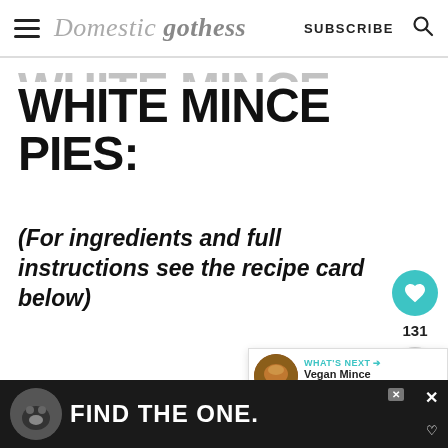Domestic Gothess — SUBSCRIBE
WHITE MINCE PIES:
(For ingredients and full instructions see the recipe card below)
Start by making the pastry. Place the plain flour, icing sugar, salt and grated orange zest in a large bowl and
[Figure (screenshot): What's Next popup overlay with circular food image and text 'Vegan Mince Pies']
[Figure (screenshot): Bottom advertisement bar with dog image and FIND THE ONE text on dark background]